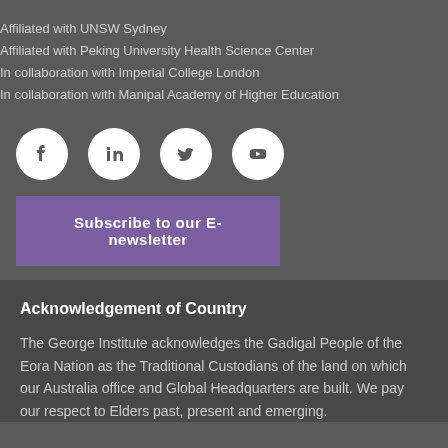Affiliated with UNSW Sydney
Affiliated with Peking University Health Science Center
In collaboration with Imperial College London
In collaboration with Manipal Academy of Higher Education
[Figure (infographic): Four social media icons in circles: Facebook, LinkedIn, Twitter, YouTube]
Subscribe to our E-newsletter
Acknowledgement of Country
The George Institute acknowledges the Gadigal People of the Eora Nation as the Traditional Custodians of the land on which our Australia office and Global Headquarters are built. We pay our respect to Elders past, present and emerging.